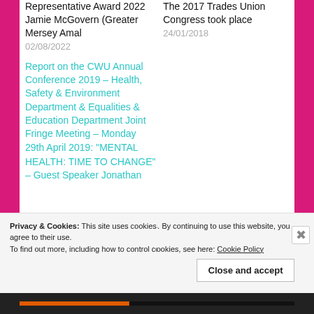Representative Award 2022 Jamie McGovern (Greater Mersey Amal
02/08/2022
The 2017 Trades Union Congress took place
24/01/2018
Report on the CWU Annual Conference 2019 – Health, Safety & Environment Department & Equalities & Education Department Joint Fringe Meeting – Monday 29th April 2019: "MENTAL HEALTH: TIME TO CHANGE" – Guest Speaker Jonathan
Privacy & Cookies: This site uses cookies. By continuing to use this website, you agree to their use. To find out more, including how to control cookies, see here: Cookie Policy
Close and accept